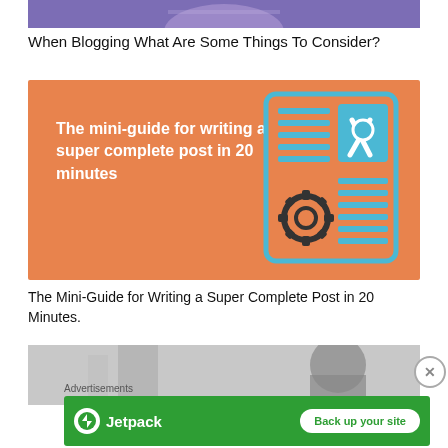[Figure (photo): Partial photo of a person wearing a purple top, cropped to show top of image only]
When Blogging What Are Some Things To Consider?
[Figure (illustration): Orange background promotional image with white bold text reading 'The mini-guide for writing a super complete post in 20 minutes' and a document/tools icon on the right side]
The Mini-Guide for Writing a Super Complete Post in 20 Minutes.
[Figure (photo): Partial photo showing two people, grayscale, cropped at bottom of page]
Advertisements
[Figure (screenshot): Green advertisement banner for Jetpack showing logo on left and 'Back up your site' button on right]